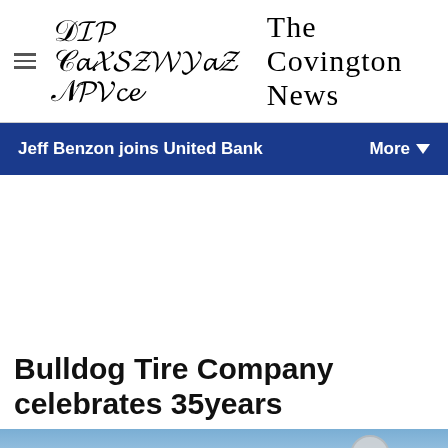The Covington News
Jeff Benzon joins United Bank   More
Bulldog Tire Company celebrates 35years
[Figure (photo): Partial photo of a tire company storefront showing red letters on a white metal building, with a blue sky and clouds visible above.]